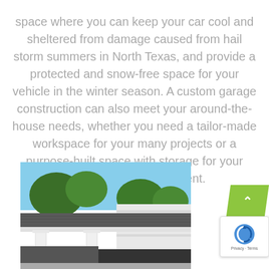space where you can keep your car cool and sheltered from damage caused from hail storm summers in North Texas, and provide a protected and snow-free space for your vehicle in the winter season. A custom garage construction can also meet your around-the-house needs, whether you need a tailor-made workspace for your many projects or a purpose-built space with storage for your lawn and snow equipment.
[Figure (photo): Photograph of a white open-sided garage/carport structure with a dark shingled roof and white columns, with trees and blue sky in the background and a vehicle visible underneath.]